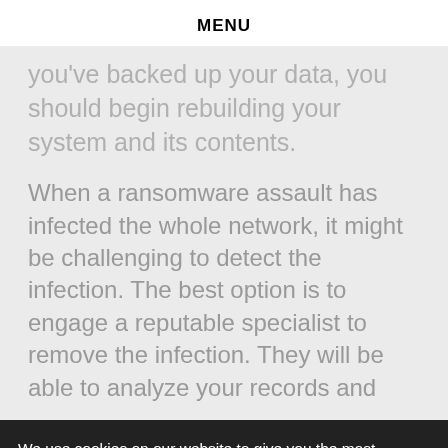MENU
you've backed up your data, you should begin rebuilding your system and its contents.
When a ransomware assault has infected the whole network, it might be challenging to detect the infection. The best option is to engage a reputable specialist to remove the infection. They will be able to analyze your records and
We use cookies on our website to give you the most relevant experience by remembering your preferences and repeat visits. By clicking "Accept All", you consent to the use of ALL the cookies. However, you may visit "Cookie Settings" to provide a controlled consent.
Cookie Settings
Accept All